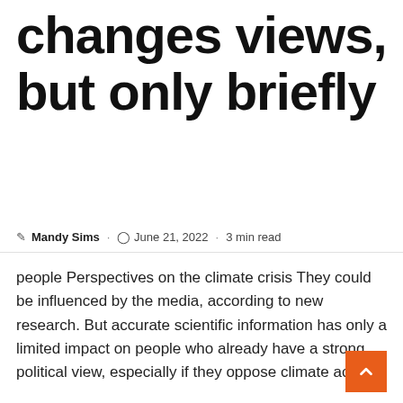changes views, but only briefly
Mandy Sims · June 21, 2022 · 3 min read
people Perspectives on the climate crisis They could be influenced by the media, according to new research. But accurate scientific information has only a limited impact on people who already have a strong political view, especially if they oppose climate action.
Researchers who conducted an experiment in the United States to explore how people interact with media reports about weather found that people's